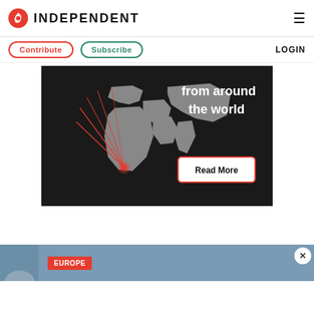INDEPENDENT
Contribute | Subscribe | LOGIN
[Figure (illustration): World map advertisement with red lines radiating from a point in southern Africa, text reading 'from around the world', with a 'Read More' button]
EUROPE